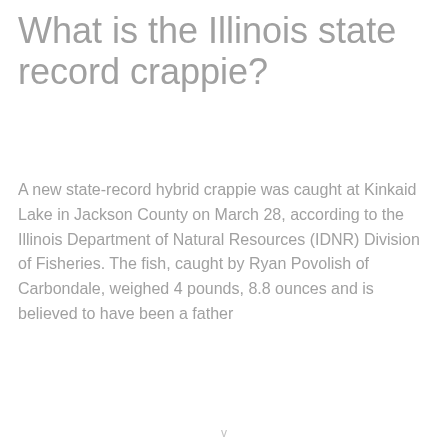What is the Illinois state record crappie?
A new state-record hybrid crappie was caught at Kinkaid Lake in Jackson County on March 28, according to the Illinois Department of Natural Resources (IDNR) Division of Fisheries. The fish, caught by Ryan Povolish of Carbondale, weighed 4 pounds, 8.8 ounces and is believed to have been a father
v